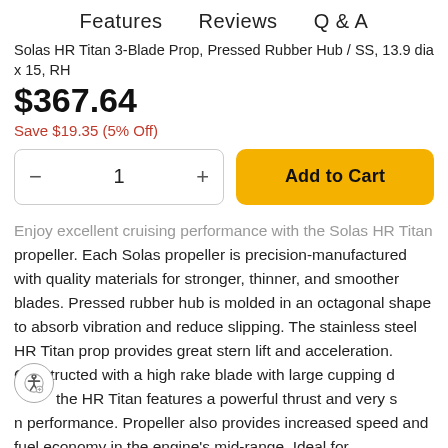Features   Reviews   Q & A
Solas HR Titan 3-Blade Prop, Pressed Rubber Hub / SS, 13.9 dia x 15, RH
$367.64
Save $19.35 (5% Off)
1  Add to Cart
Enjoy excellent cruising performance with the Solas HR Titan propeller. Each Solas propeller is precision-manufactured with quality materials for stronger, thinner, and smoother blades. Pressed rubber hub is molded in an octagonal shape to absorb vibration and reduce slipping. The stainless steel HR Titan prop provides great stern lift and acceleration. Constructed with a high rake blade with large cupping d the HR Titan features a powerful thrust and very s n performance. Propeller also provides increased speed and fuel economy in the engine's mid-range. Ideal for